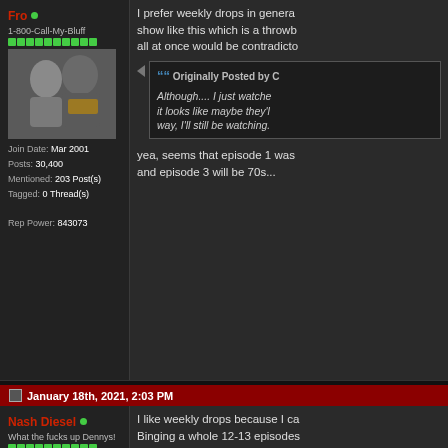I prefer weekly drops in general. For a show like this which is a throwback, binging all at once would be contradictory.
Originally Posted by C — Although.... I just watched... it looks like maybe they'll... way, I'll still be watching.
yea, seems that episode 1 was ... and episode 3 will be 70s...
Fro
1-800-Call-My-Bluff
Join Date: Mar 2001
Posts: 30,400
Mentioned: 203 Post(s)
Tagged: 0 Thread(s)
Rep Power: 843073
January 18th, 2021, 2:03 PM
Nash Diesel
What the fucks up Dennys!
I like weekly drops because I ca... Binging a whole 12-13 episodes... a week or 3 is a lot of shit to dig... a show like The Boys and I hav... because I binged that shit to ge... ask me shit and I'm like shit I w...